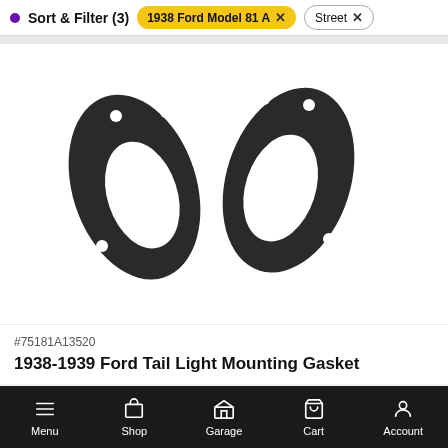Sort & Filter (3)  |  1938 Ford Model 81 A  x  |  Street  x
[Figure (photo): Two black rubber tail light mounting gaskets, teardrop/oval shaped, with mounting holes, shown on white background]
#75181A13520
1938-1939 Ford Tail Light Mounting Gasket
Menu  Shop  Garage  Cart  Account